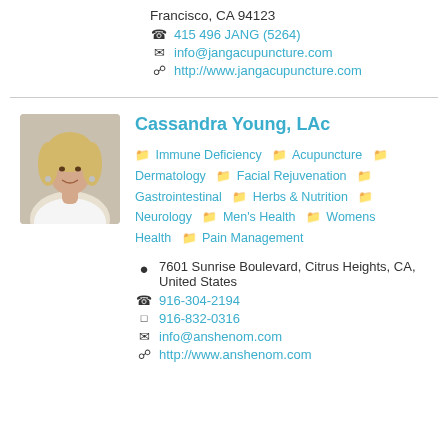Francisco, CA 94123
📞 415 496 JANG (5264)
✉ info@jangacupuncture.com
🌐 http://www.jangacupuncture.com
Cassandra Young, LAc
Immune Deficiency  Acupuncture  Dermatology  Facial Rejuvenation  Gastrointestinal  Herbs & Nutrition  Neurology  Men's Health  Womens Health  Pain Management
📍 7601 Sunrise Boulevard, Citrus Heights, CA, United States
📞 916-304-2194
📱 916-832-0316
✉ info@anshenom.com
🌐 http://www.anshenom.com